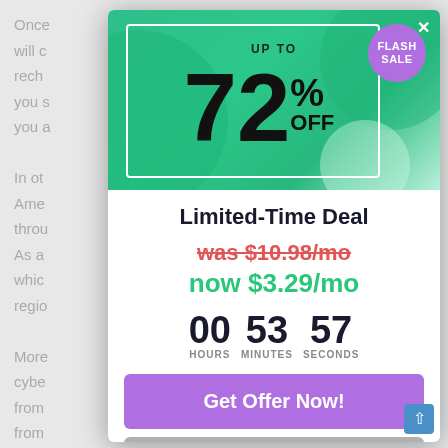Once will c rech you s re you a In ot an Amer throu ses. As a nt, whic t regio More cyber vels from s from t shar IF
[Figure (screenshot): Flash sale modal popup with green banner showing 'UP TO 72% OFF' with a purple 'FLASH SALE' badge, close X button, and decorative green circles]
Limited-Time Deal
was $10.98/mo
now $3.29/mo
00 HOURS  53 MINUTES  57 SECONDS
Get Offer Now!
No Thanks